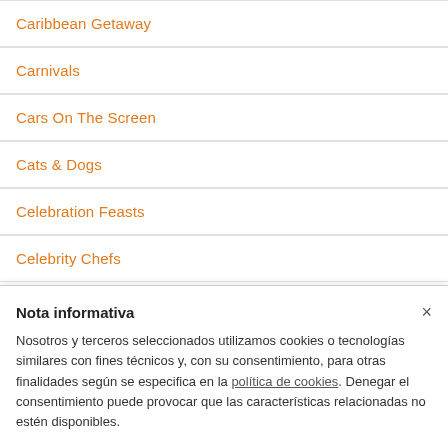Caribbean Getaway
Carnivals
Cars On The Screen
Cats & Dogs
Celebration Feasts
Celebrity Chefs
Nota informativa
Nosotros y terceros seleccionados utilizamos cookies o tecnologías similares con fines técnicos y, con su consentimiento, para otras finalidades según se especifica en la política de cookies. Denegar el consentimiento puede provocar que las características relacionadas no estén disponibles.